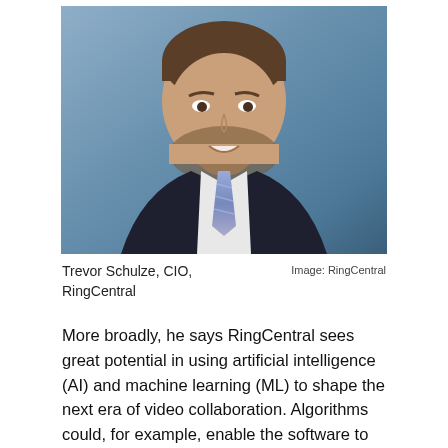[Figure (photo): Headshot of Trevor Schulze, CIO of RingCentral. A middle-aged man with short brown hair and a beard, wearing a dark suit jacket, white shirt, and blue tie, photographed against a blue-grey background.]
Trevor Schulze, CIO, RingCentral
Image: RingCentral
More broadly, he says RingCentral sees great potential in using artificial intelligence (AI) and machine learning (ML) to shape the next era of video collaboration. Algorithms could, for example, enable the software to “recognize” when someone enters a